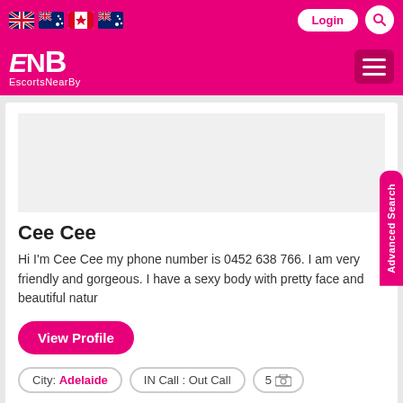[Figure (screenshot): Navigation bar with country flag icons (UK, Australia, Canada, Australia), Login button, and search icon on pink background]
[Figure (logo): ENB EscortsNearBy logo in white on pink background with hamburger menu]
Cee Cee
Hi I'm Cee Cee my phone number is 0452 638 766. I am very friendly and gorgeous. I have a sexy body with pretty face and beautiful natur
View Profile
City: Adelaide  IN Call : Out Call  5 [photos]
[Figure (other): Ad card placeholder at bottom with orange 'ad' badge]